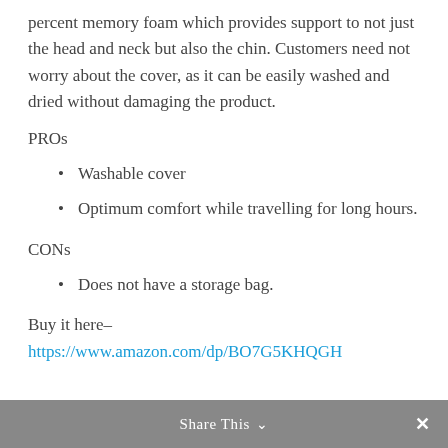percent memory foam which provides support to not just the head and neck but also the chin. Customers need not worry about the cover, as it can be easily washed and dried without damaging the product.
PROs
Washable cover
Optimum comfort while travelling for long hours.
CONs
Does not have a storage bag.
Buy it here– https://www.amazon.com/dp/BO7G5KHQGH
Share This ∨  ✕